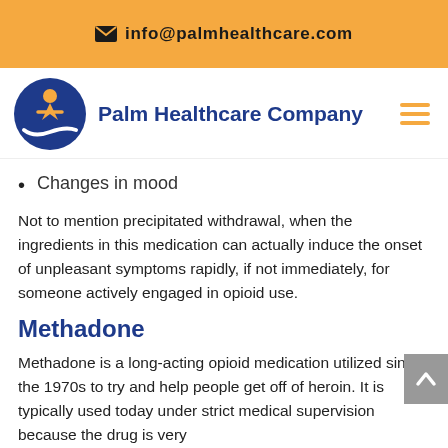✉ info@palmhealthcare.com
[Figure (logo): Palm Healthcare Company logo — blue circle with orange figure and white wave, next to bold blue text 'Palm Healthcare Company' and orange hamburger menu icon]
Changes in mood
Not to mention precipitated withdrawal, when the ingredients in this medication can actually induce the onset of unpleasant symptoms rapidly, if not immediately, for someone actively engaged in opioid use.
Methadone
Methadone is a long-acting opioid medication utilized since the 1970s to try and help people get off of heroin. It is typically used today under strict medical supervision because the drug is very